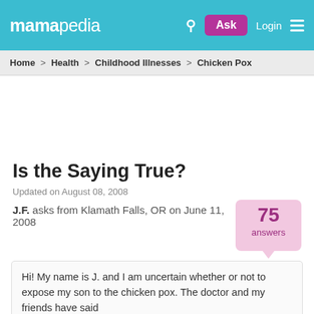mamapedia | Ask | Login
Home > Health > Childhood Illnesses > Chicken Pox
Is the Saying True?
Updated on August 08, 2008
J.F. asks from Klamath Falls, OR on June 11, 2008
75 answers
Hi! My name is J. and I am uncertain whether or not to expose my son to the chicken pox. The doctor and my friends have said